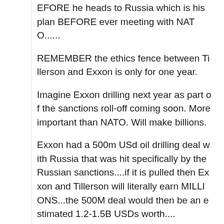EFORE he heads to Russia which is his plan BEFORE ever meeting with NATO......
REMEMBER the ethics fence between Tillerson and Exxon is only for one year.
Imagine Exxon drilling next year as part of the sanctions roll-off coming soon. More important than NATO. Will make billions.
Exxon had a 500m USd oil drilling deal with Russia that was hit specifically by the Russian sanctions....if it is pulled then Exxon and Tillerson will literally earn MILLIONS...the 500M deal would then be an estimated 1.2-1.5B USDs worth....
REMEMBER the FBI Directors response to possible Russian enjoying Tillerson being SoS....NO COMMENT as he has the